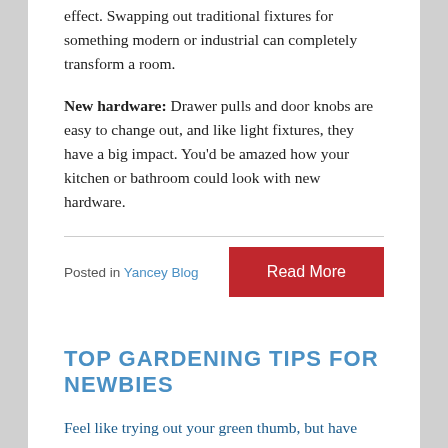effect. Swapping out traditional fixtures for something modern or industrial can completely transform a room.
New hardware: Drawer pulls and door knobs are easy to change out, and like light fixtures, they have a big impact. You'd be amazed how your kitchen or bathroom could look with new hardware.
Posted in Yancey Blog
Read More
TOP GARDENING TIPS FOR NEWBIES
Feel like trying out your green thumb, but have